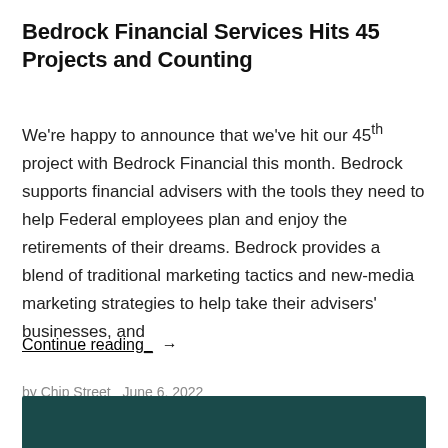Bedrock Financial Services Hits 45 Projects and Counting
We're happy to announce that we've hit our 45th project with Bedrock Financial this month. Bedrock supports financial advisers with the tools they need to help Federal employees plan and enjoy the retirements of their dreams. Bedrock provides a blend of traditional marketing tactics and new-media marketing strategies to help take their advisers' businesses, and
Continue reading  →
by Chip Street   June 6, 2022
[Figure (other): Dark teal/green colored banner bar at the bottom of the page]